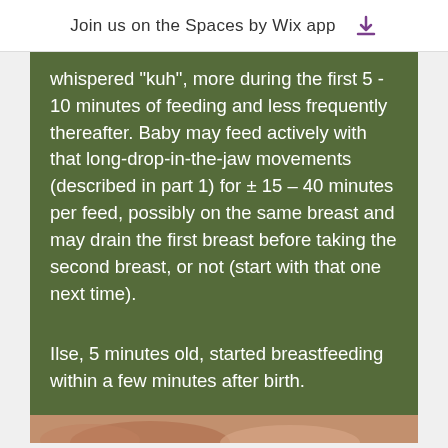Join us on the Spaces by Wix app
whispered “kuh”, more during the first 5 - 10 minutes of feeding and less frequently thereafter. Baby may feed actively with that long-drop-in-the-jaw movements (described in part 1) for ± 15 – 40 minutes per feed, possibly on the same breast and may drain the first breast before taking the second breast, or not (start with that one next time).
Ilse, 5 minutes old, started breastfeeding within a few minutes after birth.
[Figure (photo): Partial photo strip of a baby/mother breastfeeding scene visible at bottom of green content block]